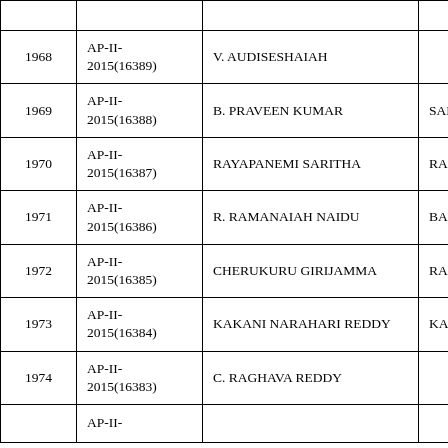|  |  |  |  |
| --- | --- | --- | --- |
|  |  |  |  |
| 1968 | AP-II-2015(16389) | V. AUDISESHAIAH |  |
| 1969 | AP-II-2015(16388) | B. PRAVEEN KUMAR | SAMUEL |
| 1970 | AP-II-2015(16387) | RAYAPANEMI SARITHA | RAMANAIA |
| 1971 | AP-II-2015(16386) | R. RAMANAIAH NAIDU | BALAKRISH |
| 1972 | AP-II-2015(16385) | CHERUKURU GIRIJAMMA | RAMANAIA |
| 1973 | AP-II-2015(16384) | KAKANI NARAHARI REDDY | KAKANI KR |
| 1974 | AP-II-2015(16383) | C. RAGHAVA REDDY |  |
|  | AP-II- |  |  |